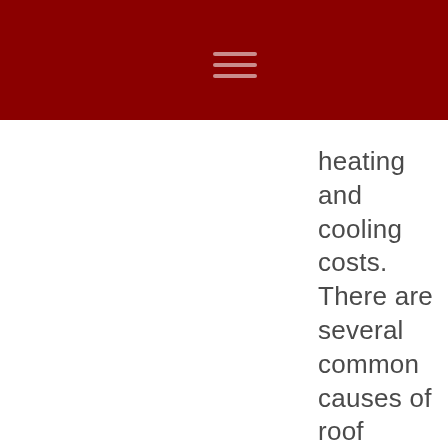heating and cooling costs. There are several common causes of roof damage. Knowing these potential causes can help you